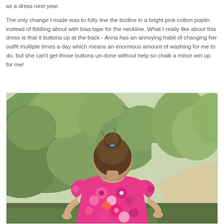as a dress next year.  The only change I made was to fully line the bodice in a bright pink cotton poplin instead of fiddling about with bias tape for the neckline.  What I really like about this dress is that it buttons up at the back - Anna has an annoying habit of changing her outfit multiple times a day which means an enormous amount of washing for me to do, but she can't get those buttons un-done without help so chalk a minor win up for me!
[Figure (photo): A young child photographed from behind, wearing a bright pink floral dress, with hair in a bun held by a blue hair tie, standing in front of green bushes/shrubs with a garden path visible to the right.]